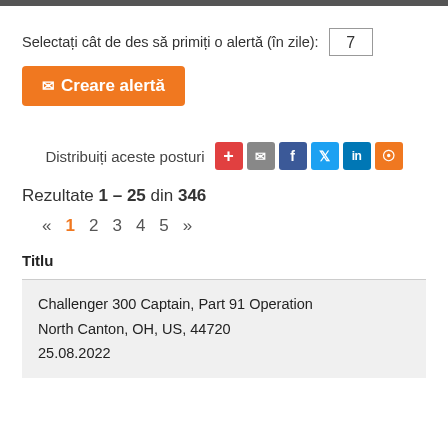Selectați cât de des să primiți o alertă (în zile): 7
✉ Creare alertă
Distribuiți aceste posturi
Rezultate 1 – 25 din 346
« 1 2 3 4 5 »
Titlu
Challenger 300 Captain, Part 91 Operation
North Canton, OH, US, 44720
25.08.2022